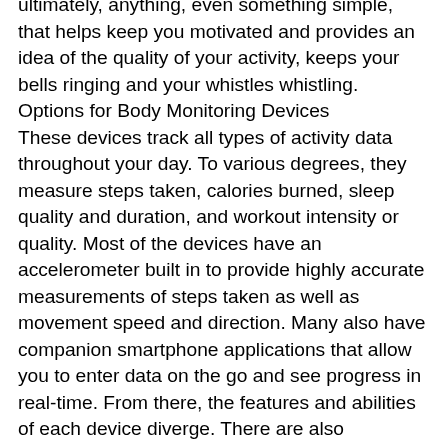ultimately, anything, even something simple, that helps keep you motivated and provides an idea of the quality of your activity, keeps your bells ringing and your whistles whistling.
Options for Body Monitoring Devices
These devices track all types of activity data throughout your day. To various degrees, they measure steps taken, calories burned, sleep quality and duration, and workout intensity or quality. Most of the devices have an accelerometer built in to provide highly accurate measurements of steps taken as well as movement speed and direction. Many also have companion smartphone applications that allow you to enter data on the go and see progress in real-time. From there, the features and abilities of each device diverge. There are also differences in how the device is worn that may have an impact on its comfort and usefulness.
Within the overlying body monitor category, there are